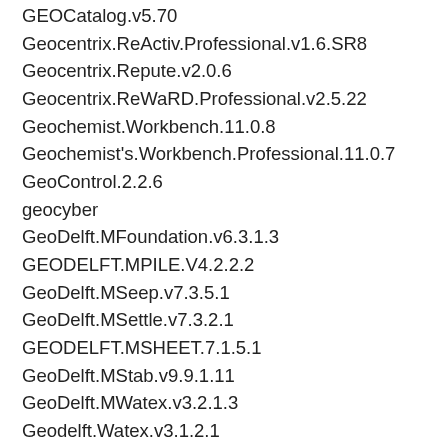GEOCatalog.v5.70
Geocentrix.ReActiv.Professional.v1.6.SR8
Geocentrix.Repute.v2.0.6
Geocentrix.ReWaRD.Professional.v2.5.22
Geochemist.Workbench.11.0.8
Geochemist's.Workbench.Professional.11.0.7
GeoControl.2.2.6
geocyber
GeoDelft.MFoundation.v6.3.1.3
GEODELFT.MPILE.V4.2.2.2
GeoDelft.MSeep.v7.3.5.1
GeoDelft.MSettle.v7.3.2.1
GEODELFT.MSHEET.7.1.5.1
GeoDelft.MStab.v9.9.1.11
GeoDelft.MWatex.v3.2.1.3
Geodelft.Watex.v3.1.2.1
GeoDLL.v11.11
GeoEast.2.6.3
GeoFEA.v8.0
geoframe.4.5.2022
GeoFrameworks.GPS.NET.for.All.Platforms.v2.3.16
geogiga.seismic.pro.8.3
GEOGRAECAD.V3.0